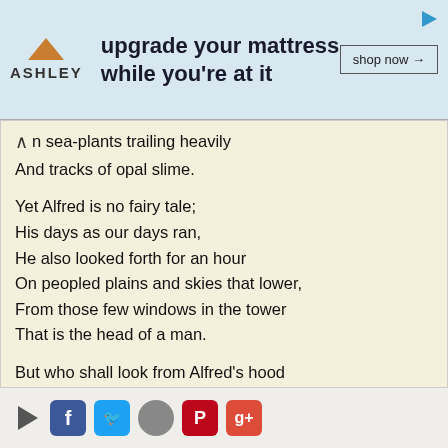[Figure (screenshot): Ashley Furniture advertisement banner with orange triangle logo, bold text 'upgrade your mattress while you're at it', and 'shop now' button]
n sea-plants trailing heavily
And tracks of opal slime.
Yet Alfred is no fairy tale;
His days as our days ran,
He also looked forth for an hour
On peopled plains and skies that lower,
From those few windows in the tower
That is the head of a man.
But who shall look from Alfred's hood
[...] Read more
poem by Gilbert Keith Chesterton
Added by Poetry Lover
Comment! | Vote! | Copy!
[Figure (screenshot): Social sharing bar with play button, Facebook, Twitter, Google, Pinterest, and Google Plus icons]